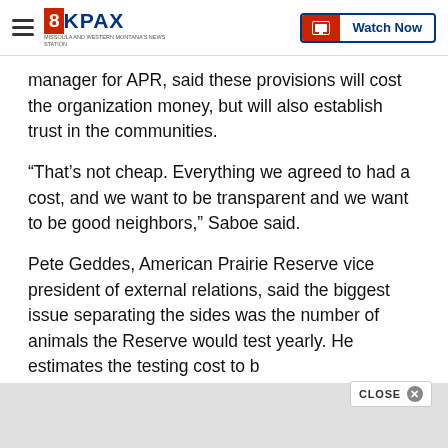8KPAX | Watch Now
manager for APR, said these provisions will cost the organization money, but will also establish trust in the communities.
“That’s not cheap. Everything we agreed to had a cost, and we want to be transparent and we want to be good neighbors,” Saboe said.
Pete Geddes, American Prairie Reserve vice president of external relations, said the biggest issue separating the sides was the number of animals the Reserve would test yearly. He estimates the testing cost to b